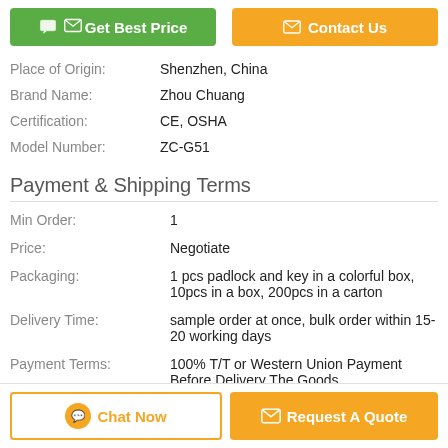Get Best Price | Contact Us
| Place of Origin: | Shenzhen, China |
| Brand Name: | Zhou Chuang |
| Certification: | CE, OSHA |
| Model Number: | ZC-G51 |
Payment & Shipping Terms
| Min Order: | 1 |
| Price: | Negotiate |
| Packaging: | 1 pcs padlock and key in a colorful box, 10pcs in a box, 200pcs in a carton |
| Delivery Time: | sample order at once, bulk order within 15-20 working days |
| Payment Terms: | 100% T/T or Western Union Payment Before Delivery The Goods. |
| Supply Ability: | 100000 piece in one month |
Chat Now | Request A Quote